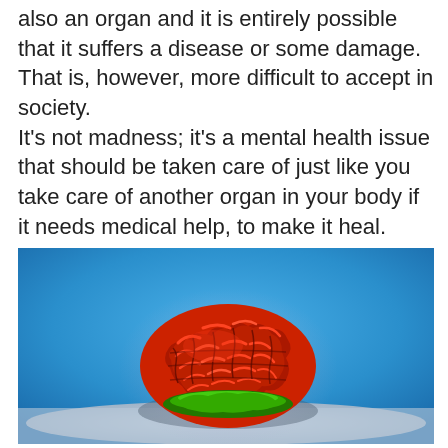also an organ and it is entirely possible that it suffers a disease or some damage. That is, however, more difficult to accept in society. It's not madness; it's a mental health issue that should be taken care of just like you take care of another organ in your body if it needs medical help, to make it heal.
[Figure (photo): A colorful anatomical brain model with red and dark gold gyri patterns and green base, photographed against a blue gradient background.]